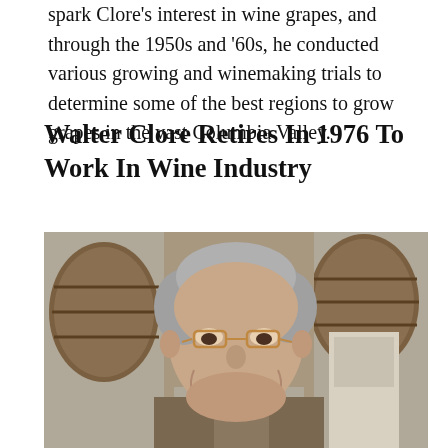spark Clore's interest in wine grapes, and through the 1950s and '60s, he conducted various growing and winemaking trials to determine some of the best regions to grow grapes in the vast Columbia Valley.
Walter Clore Retires In 1976 To Work In Wine Industry
[Figure (photo): Black and white photograph of Walter Clore, an elderly man with gray hair and glasses, smiling broadly. He is wearing a suit jacket. Behind him are wooden wine barrels in what appears to be a winery.]